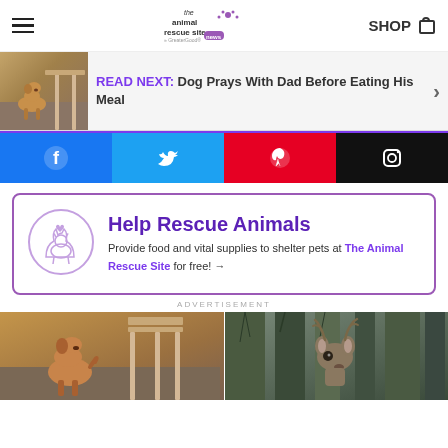the animal rescue site · SHOP
READ NEXT: Dog Prays With Dad Before Eating His Meal
[Figure (infographic): Social media share bar with Facebook, Twitter, Pinterest, and Instagram icons]
Help Rescue Animals
Provide food and vital supplies to shelter pets at The Animal Rescue Site for free! →
ADVERTISEMENT
[Figure (photo): Golden/brown dog standing near chairs indoors]
[Figure (photo): Deer looking through trees in forest]